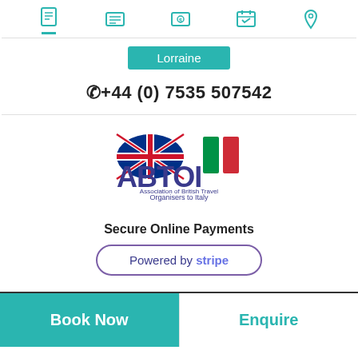[Figure (infographic): Top navigation bar with 5 teal icons: document, list, currency/payment, calendar, location pin. First icon has a teal underline indicating active state.]
Lorraine
(☎)+44 (0) 7535 507542
[Figure (logo): ABTOI logo: UK flag and Italian flag motifs above the letters ABTOI, with subtitle 'Association of British Travel Organisers to Italy']
Secure Online Payments
[Figure (logo): Stripe payment button: rounded rectangle border with text 'Powered by stripe']
Book Now
Enquire